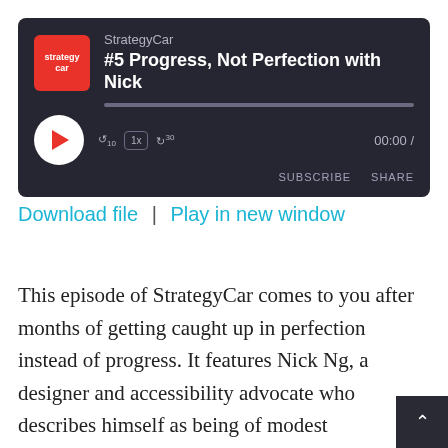[Figure (screenshot): Podcast player widget for StrategyCar episode '#5 Progress, Not Perfection with Nick'. Dark background player with play button, progress bar, speed controls (10, 1x, 30), time display 00:00, SUBSCRIBE and SHARE buttons.]
Download file | Play in new window
This episode of StrategyCar comes to you after months of getting caught up in perfection instead of progress. It features Nick Ng, a designer and accessibility advocate who describes himself as being of modest personality, resolving to make lives less iffy and more sniffy through